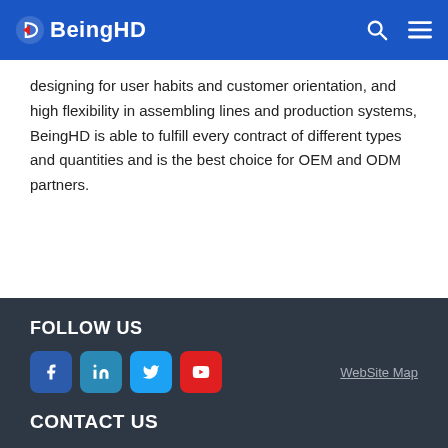BeingHD
designing for user habits and customer orientation, and high flexibility in assembling lines and production systems, BeingHD is able to fulfill every contract of different types and quantities and is the best choice for OEM and ODM partners.
FOLLOW US
[Figure (infographic): Social media icons: Facebook (blue), LinkedIn (teal-blue), Twitter (light blue), YouTube (red). WebSite Map link on the right.]
CONTACT US